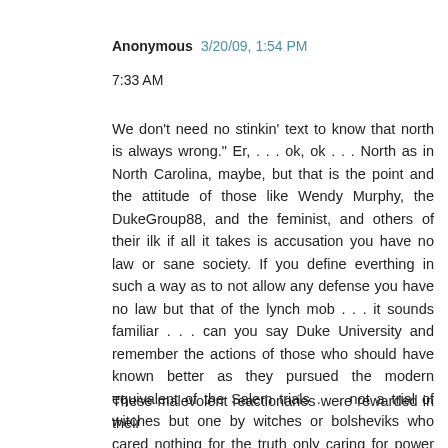Anonymous 3/20/09, 1:54 PM
7:33 AM
We don't need no stinkin' text to know that north is always wrong." Er, . . . ok, ok . . . North as in North Carolina, maybe, but that is the point and the attitude of those like Wendy Murphy, the DukeGroup88, and the feminist, and others of their ilk if all it takes is accusation you have no law or sane society. If you define everthing in such a way as to not allow any defense you have no law but that of the lynch mob . . . it sounds familiar . . . can you say Duke University and remember the actions of those who should have known better as they pursued the modern equivalent of the Salem trials . . . not a trial of witches but one by witches or bolsheviks who cared nothing for the truth only caring for power and their pound of flesh which they got from those who were supposed to be in charge, but were known not to be.
These malevolent reactionaries were rewarded in their